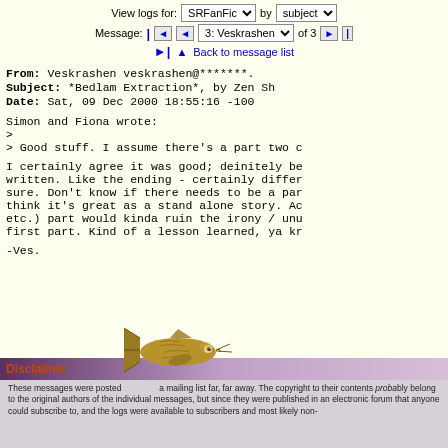View logs for: SRFanFic by subject | Message: |◄ ◄ 3: Veskrashen ▼ of 3 ►| ▲ Back to message list
From: Veskrashen veskrashen@*******.  Subject: *Bedlam Extraction*, by Zen Sh  Date: Sat, 09 Dec 2000 18:55:16 -100
Simon and Fiona wrote:
>
> Good stuff. I assume there's a part two c

I certainly agree it was good; deinitely be written. Like the ending - certainly differ sure. Don't know if there needs to be a par think it's great as a stand alone story. Ac etc.) part would kinda ruin the irony / unu first part. Kind of a lesson learned, ya kr

-Ves.
Disclaimer
These messages were posted to a mailing list far, far away. The copyright to their contents probably belong to the original authors of the individual messages, but since they were published in an electronic forum that anyone could subscribe to, and the logs were available to subscribers and most likely non-